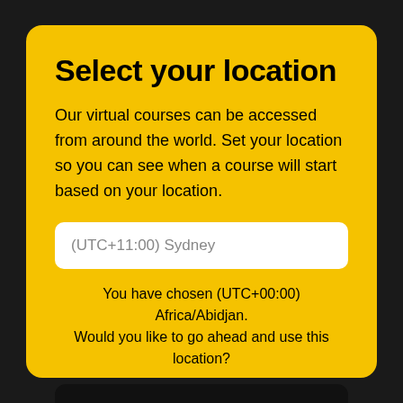Select your location
Our virtual courses can be accessed from around the world. Set your location so you can see when a course will start based on your location.
(UTC+11:00) Sydney
You have chosen (UTC+00:00) Africa/Abidjan. Would you like to go ahead and use this location?
Yes, use this location